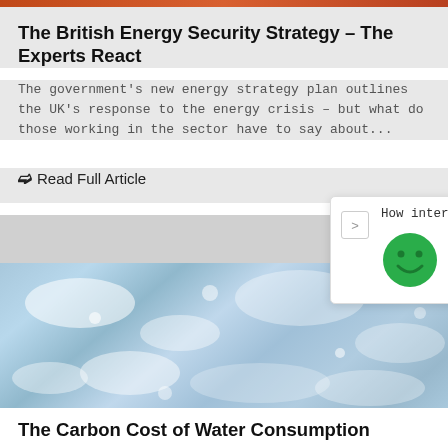The British Energy Security Strategy – The Experts React
The government's new energy strategy plan outlines the UK's response to the energy crisis – but what do those working in the sector have to say about...
❯ Read Full Article
[Figure (other): A popup widget asking 'How interesting is our news today?' with four emoji faces ranging from very happy (dark green) to neutral (light green) to slightly sad (light pink) to very sad (dark pink/red), with a chevron arrow button on the left side.]
[Figure (photo): Close-up photograph of splashing water with ice or water droplets, light blue and white tones.]
The Carbon Cost of Water Consumption